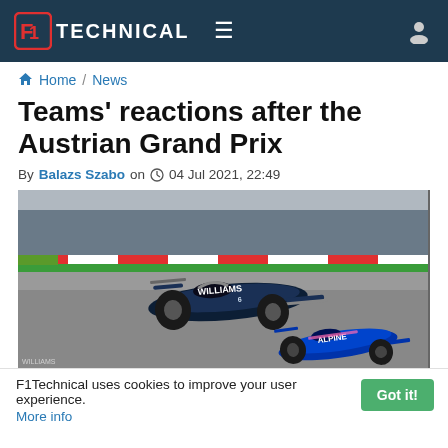F1Technical navigation bar with logo, hamburger menu, and user icon
Home / News
Teams' reactions after the Austrian Grand Prix
By Balazs Szabo on 04 Jul 2021, 22:49
[Figure (photo): Formula 1 racing cars on track at the Austrian Grand Prix, showing Williams and Alpine cars cornering on the circuit with red and green curbs visible]
F1Technical uses cookies to improve your user experience. More info